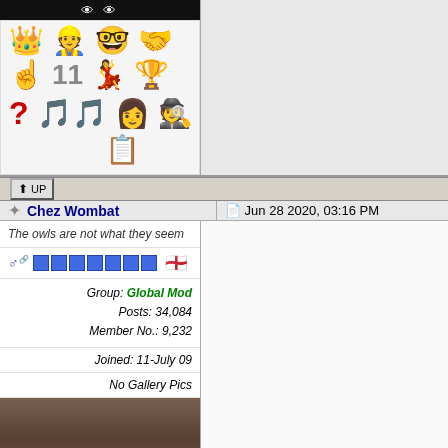[Figure (screenshot): Black bar at top with stylized eyes graphic (white eyes on black background)]
[Figure (illustration): Grid of emojis: crown, construction worker, nerd face, handshake, pointing finger, number 11, woman dancing, trophy, red question mark, musical notes (purple), woman with bob haircut, detective, clipboard with list on blue box]
[Figure (screenshot): Up button with arrow icon and 'UP' text label]
Chez Wombat
Jun 28 2020, 03:16 PM
The owls are not what they seem
Group: Global Mod
Posts: 34,084
Member No.: 9,232
Joined: 11-July 09
No Gallery Pics
[Figure (photo): Partial photo of an animal (appears to be a wombat or similar creature) with brown/grey fur]